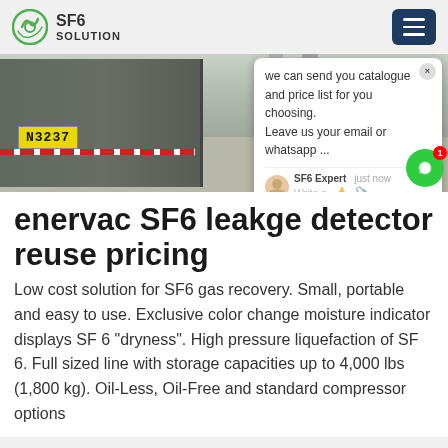SF6 SOLUTION
[Figure (photo): Hero image showing back of a large truck/vehicle with yellow license plate reading N3237, in an industrial/warehouse area with concrete pillars visible in the background. A chat popup overlay is visible on the right side of the image.]
enervac SF6 leakge detector reuse pricing
Low cost solution for SF6 gas recovery. Small, portable and easy to use. Exclusive color change moisture indicator displays SF 6 "dryness". High pressure liquefaction of SF 6. Full sized line with storage capacities up to 4,000 lbs (1,800 kg). Oil-Less, Oil-Free and standard compressor options